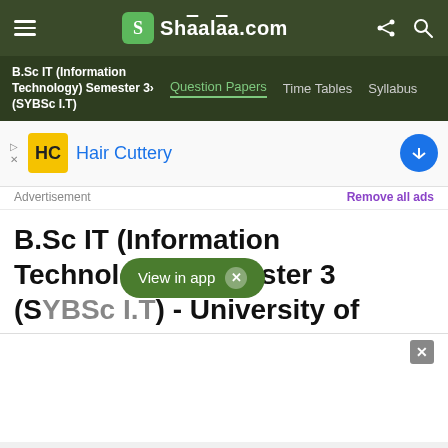Shaalaa.com
B.Sc IT (Information Technology) Semester 3> Question Papers  Time Tables  Syllabus (SYBSc I.T)
[Figure (screenshot): Hair Cuttery advertisement banner]
Advertisement   Remove all ads
B.Sc IT (Information Technology) Semester 3 (SYBSc I.T) - University of Mumbai Previous Year Question Papers and Solutions for Computer Netw...[more] PDFs